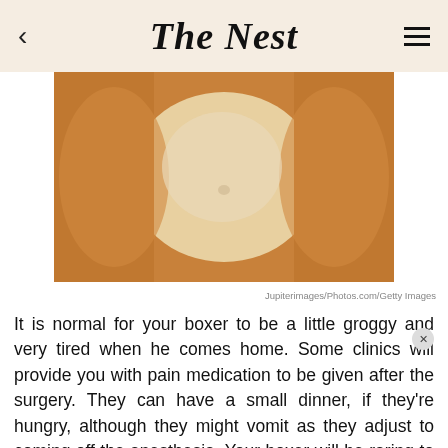The Nest
[Figure (photo): Close-up photo of a dog's (boxer) belly and torso area, showing skin and fur, hands visible on sides]
Jupiterimages/Photos.com/Getty Images
It is normal for your boxer to be a little groggy and very tired when he comes home. Some clinics will provide you with pain medication to be given after the surgery. They can have a small dinner, if they're hungry, although they might vomit as they adjust to coming off the anesthesia. Your boxer will be raring to go two days after the surgery, but it is wise to